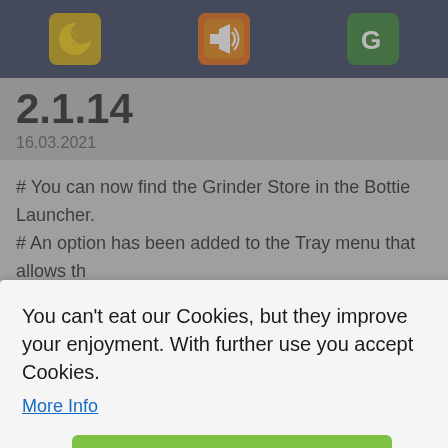Navigation bar with icons
2.1.14
16.03.2021
# You can now find the Grinder Store in the Bottie Launcher.
# An option has been added to the Tray menu that allows th…
2.1.12
06.03.2021
# Further Security Measures have been taken.
You can't eat our Cookies, but they improve your enjoyment. With further use you accept Cookies.
More Info
Got it!
n turning t…
# Fixed an issue with Grinder posting a character in the cha…